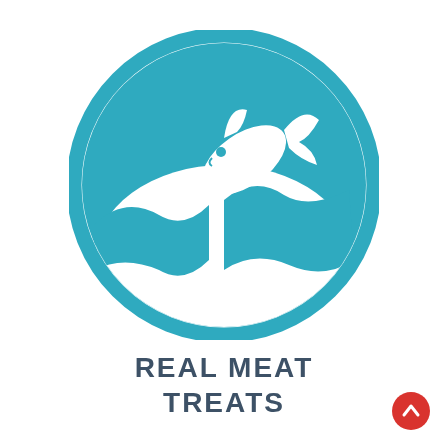[Figure (illustration): Teal circular icon showing a fish jumping out of waves. The circle has a thick teal border with a white interior. Inside, teal wave shapes are at the bottom and a white fish silhouette leaps upward from the waves.]
REAL MEAT TREATS
[Figure (illustration): Small red circular button with a white upward-pointing chevron arrow, positioned in the bottom-right corner.]